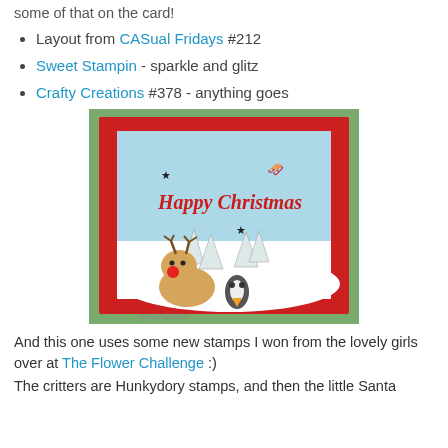some of that on the card!
Layout from CASual Fridays #212
Sweet Stampin - sparkle and glitz
Crafty Creations #378 - anything goes
[Figure (photo): A handmade Christmas card featuring a cute reindeer with a red nose and a small penguin sitting in a snowy scene with pine trees. The card says 'Happy Christmas' in red script lettering, with small star shapes and a silhouette of Santa's sleigh in the upper right. The card has a red glitter border.]
And this one uses some new stamps I won from the lovely girls over at The Flower Challenge :)
The critters are Hunkydory stamps, and then the little Santa